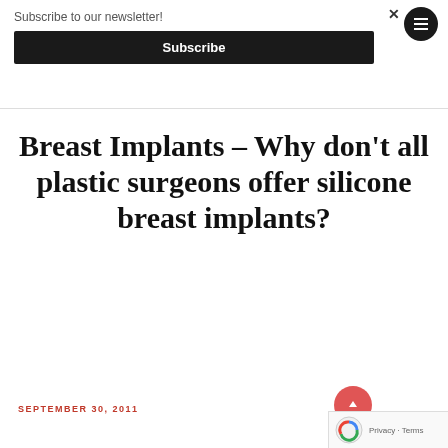Subscribe to our newsletter!
Subscribe
Breast Implants – Why don't all plastic surgeons offer silicone breast implants?
SEPTEMBER 30, 2011
Privacy · Terms